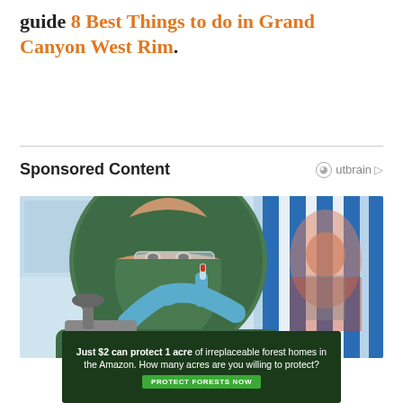guide 8 Best Things to do in Grand Canyon West Rim.
Sponsored Content  Outbrain
[Figure (photo): A woman wearing a green hijab and clear safety glasses holds up a small vial with blue gloved hands in a laboratory setting. A microscope is visible in the foreground and blue-striped shelving units are in the background.]
[Figure (infographic): Advertisement banner: 'Just $2 can protect 1 acre of irreplaceable forest homes in the Amazon. How many acres are you willing to protect?' with a green 'Protect Forests Now' button on a dark green background.]